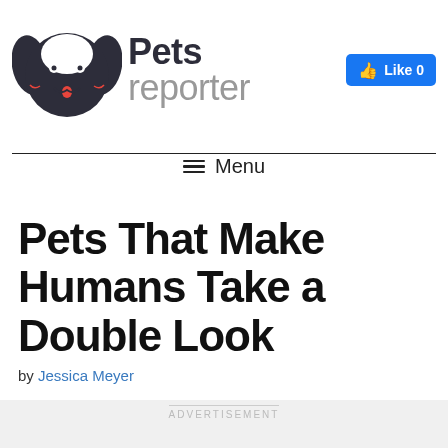[Figure (logo): Pets Reporter logo with dog face illustration and text 'Pets reporter']
[Figure (other): Facebook Like button showing 'Like 0']
≡ Menu
Pets That Make Humans Take a Double Look
by Jessica Meyer
ADVERTISEMENT